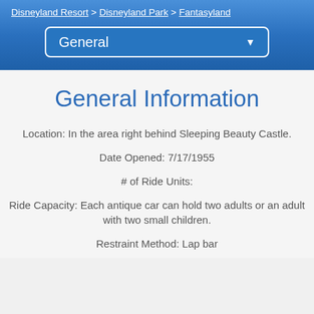Disneyland Resort > Disneyland Park > Fantasyland
[Figure (screenshot): Blue dropdown selector showing 'General' with a white down arrow, inside a rounded white-bordered box on a blue background]
General Information
Location: In the area right behind Sleeping Beauty Castle.
Date Opened: 7/17/1955
# of Ride Units:
Ride Capacity: Each antique car can hold two adults or an adult with two small children.
Restraint Method: Lap bar